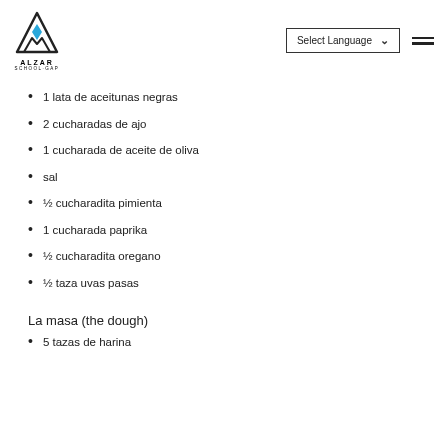[Figure (logo): ALZAR SCHOOL-GAP logo with mountain/triangle icon containing a blue diamond shape]
1 lata de aceitunas negras
2 cucharadas de ajo
1 cucharada de aceite de oliva
sal
½ cucharadita pimienta
1 cucharada paprika
½ cucharadita oregano
½ taza uvas pasas
La masa (the dough)
5 tazas de harina